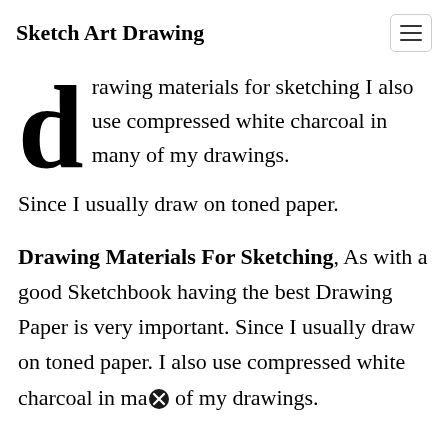Sketch Art Drawing
Drawing materials for sketching I also use compressed white charcoal in many of my drawings. Since I usually draw on toned paper.
Drawing Materials For Sketching, As with a good Sketchbook having the best Drawing Paper is very important. Since I usually draw on toned paper. I also use compressed white charcoal in ma[x] of my drawings.